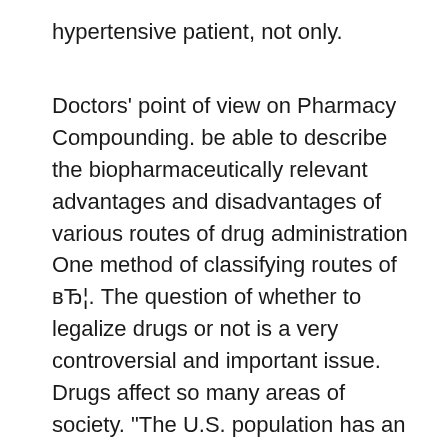hypertensive patient, not only.
Doctors' point of view on Pharmacy Compounding. be able to describe the biopharmaceutically relevant advantages and disadvantages of various routes of drug administration One method of classifying routes of вЂ¦. The question of whether to legalize drugs or not is a very controversial and important issue. Drugs affect so many areas of society. "The U.S. population has an extremely high rate of alcohol and drug abuse" (Grolier). Several groups have formed and spoken out regarding their posi....